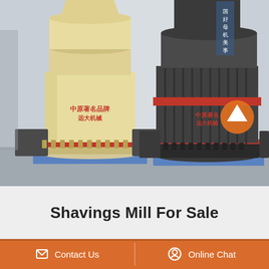[Figure (photo): Two industrial shavings mills side by side in a factory. Left mill is cream/beige colored with red Chinese text branding. Right mill is dark gray/black with a red band and red Chinese text branding. An orange upward-arrow icon is overlaid on the right mill.]
Shavings Mill For Sale
Contact Us
Online Chat